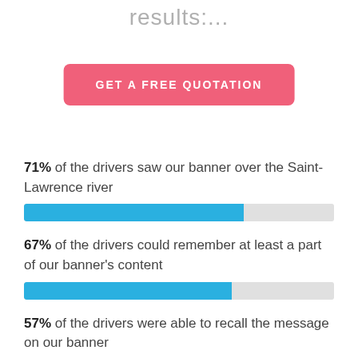results:...
GET A FREE QUOTATION
71% of the drivers saw our banner over the Saint-Lawrence river
[Figure (bar-chart): Drivers who saw banner]
67% of the drivers could remember at least a part of our banner's content
[Figure (bar-chart): Drivers who could remember content]
57% of the drivers were able to recall the message on our banner
[Figure (bar-chart): Drivers who recalled the message]